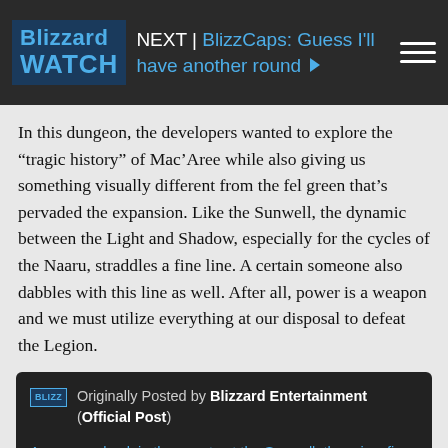NEXT | BlizzCaps: Guess I'll have another round
In this dungeon, the developers wanted to explore the “tragic history” of Mac’Aree while also giving us something visually different from the fel green that’s pervaded the expansion. Like the Sunwell, the dynamic between the Light and Shadow, especially for the cycles of the Naaru, straddles a fine line. A certain someone also dabbles with this line as well. After all, power is a weapon and we must utilize everything at our disposal to defeat the Legion.
Originally Posted by Blizzard Entertainment (Official Post)
As we saw back in the events at the Sunwell, there is a fine line dividing the opposing duality of Light and Shadow, and a similar dynamic has played out in this abandoned place. The dungeon also gives players a chance to learn more about Alleria Windrunner, and to